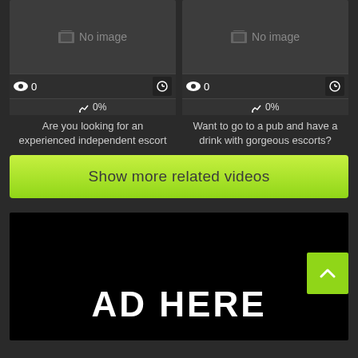[Figure (screenshot): Video card with no image placeholder, view count 0, clock icon, 0% likes, title: Are you looking for an experienced independent escort]
[Figure (screenshot): Video card with no image placeholder, view count 0, clock icon, 0% likes, title: Want to go to a pub and have a drink with gorgeous escorts?]
Are you looking for an experienced independent escort
Want to go to a pub and have a drink with gorgeous escorts?
Show more related videos
AD HERE